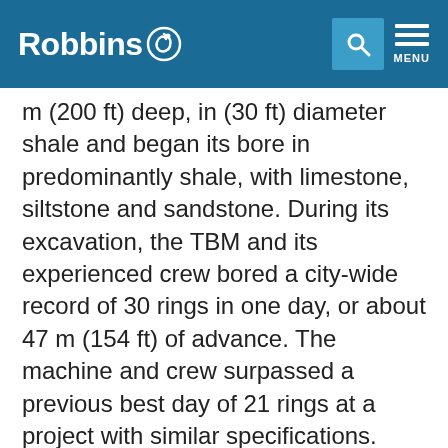Robbins [logo] | Search | MENU
m (200 ft) deep, in (30 ft) diameter shale and began its bore in predominantly shale, with limestone, siltstone and sandstone. During its excavation, the TBM and its experienced crew bored a city-wide record of 30 rings in one day, or about 47 m (154 ft) of advance. The machine and crew surpassed a previous best day of 21 rings at a project with similar specifications. “We are proud to have completed another successful tunnel with Robbins and greatly appreciate their field service support,” said Joe Savage, Project Manager for Southland.
“This is a wonderful type of geology for our machines. During the entire excavation, a total of 7...